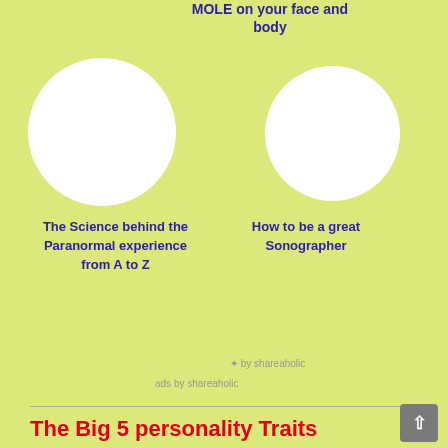MOLE on your face and body
[Figure (illustration): Two white circles side by side on yellow-green background representing article thumbnail images]
The Science behind the Paranormal experience from A to Z
How to be a great Sonographer
* by shareaholic
ads by shareaholic
The Big 5 personality Traits